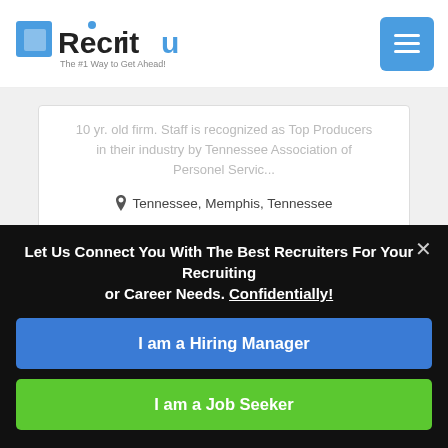Recruit — The #1 Way to Get Ahead!
10 yr. old firm. Staff is recognized as Top Producers in their industry by Tennessee Association of Personel Servic...
Tennessee, Memphis, Tennessee
Visit Website   CONTACT
Let Us Connect You With The Best Recruiters For Your Recruiting or Career Needs. Confidentially!
I am a Hiring Manager
I am a Job Seeker